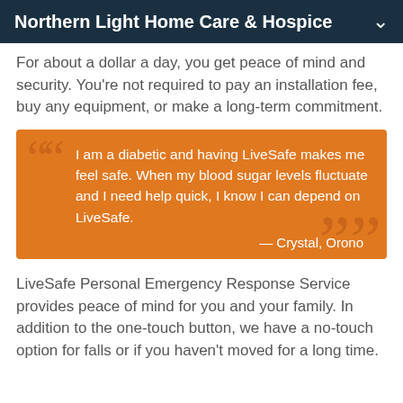Northern Light Home Care & Hospice
For about a dollar a day, you get peace of mind and security. You're not required to pay an installation fee, buy any equipment, or make a long-term commitment.
[Figure (other): Orange testimonial quote box with opening and closing quotation mark decorations. Quote reads: 'I am a diabetic and having LiveSafe makes me feel safe. When my blood sugar levels fluctuate and I need help quick, I know I can depend on LiveSafe.' Attribution: — Crystal, Orono]
LiveSafe Personal Emergency Response Service provides peace of mind for you and your family. In addition to the one-touch button, we have a no-touch option for falls or if you haven't moved for a long time.